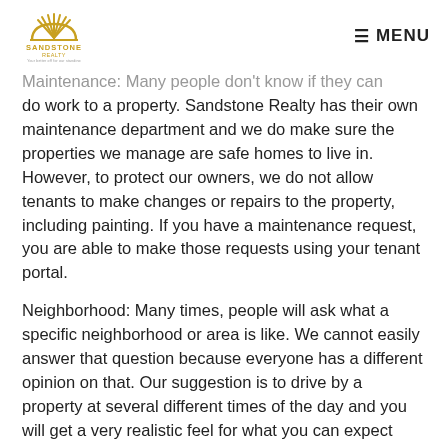Sandstone Realty — MENU
Maintenance: Many people don't know if they can do work to a property. Sandstone Realty has their own maintenance department and we do make sure the properties we manage are safe homes to live in. However, to protect our owners, we do not allow tenants to make changes or repairs to the property, including painting. If you have a maintenance request, you are able to make those requests using your tenant portal.
Neighborhood: Many times, people will ask what a specific neighborhood or area is like. We cannot easily answer that question because everyone has a different opinion on that. Our suggestion is to drive by a property at several different times of the day and you will get a very realistic feel for what you can expect when you live at this property. You may